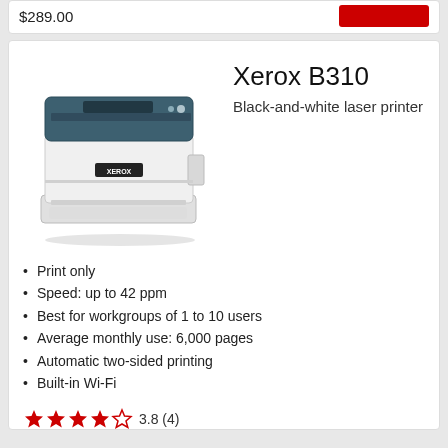$289.00
[Figure (photo): Xerox B310 black-and-white laser printer product photo, white body with dark teal/blue top lid]
Xerox B310
Black-and-white laser printer
Print only
Speed: up to 42 ppm
Best for workgroups of 1 to 10 users
Average monthly use: 6,000 pages
Automatic two-sided printing
Built-in Wi-Fi
3.8 (4)